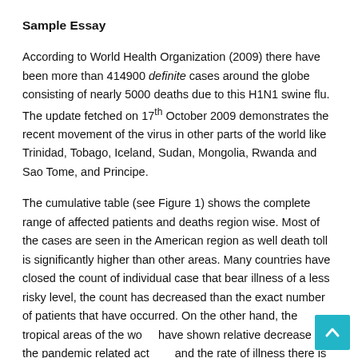Sample Essay
According to World Health Organization (2009) there have been more than 414900 definite cases around the globe consisting of nearly 5000 deaths due to this H1N1 swine flu. The update fetched on 17th October 2009 demonstrates the recent movement of the virus in other parts of the world like Trinidad, Tobago, Iceland, Sudan, Mongolia, Rwanda and Sao Tome, and Principe.
The cumulative table (see Figure 1) shows the complete range of affected patients and deaths region wise. Most of the cases are seen in the American region as well death toll is significantly higher than other areas. Many countries have closed the count of individual case that bear illness of a less risky level, the count has decreased than the exact number of patients that have occurred. On the other hand, the tropical areas of the world have shown relative decrease in the pandemic related activity, and the rate of illness there is lowering down. Asia reports to